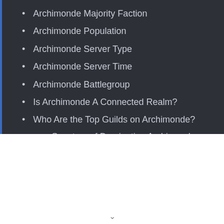Archimonde Majority Faction
Archimonde Population
Archimonde Server Type
Archimonde Server Time
Archimonde Battlegroup
Is Archimonde A Connected Realm?
Who Are the Top Guilds on Archimonde?
Sanctum of Domination Archimonde Mythic Raid Rankings